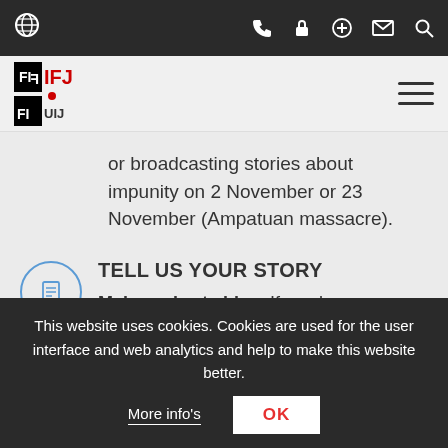[Figure (screenshot): Website top navigation bar with globe icon on left, and phone, lock, plus, envelope, and search icons on the right, dark background]
[Figure (logo): IFJ (International Federation of Journalists) logo in black and red, with hamburger menu icon on right]
or broadcasting stories about impunity on 2 November or 23 November (Ampatuan massacre).
TELL US YOUR STORY
Make a short video. If you know a colleague or a family member of a killed journalist in your country, we urge you to talk to them and
This website uses cookies. Cookies are used for the user interface and web analytics and help to make this website better.